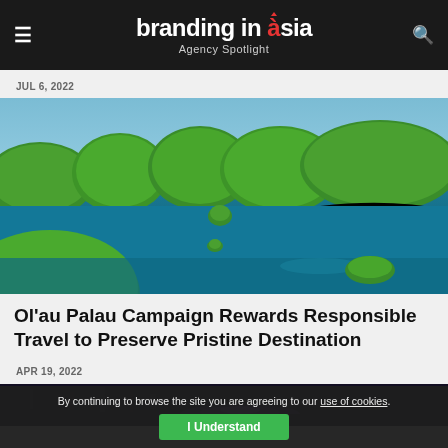branding in asia — Agency Spotlight
JUL 6, 2022
[Figure (photo): Aerial view of green tropical islands surrounded by turquoise blue water in Palau]
Ol'au Palau Campaign Rewards Responsible Travel to Preserve Pristine Destination
APR 19, 2022
[Figure (photo): Nighttime city street scene, partially visible]
By continuing to browse the site you are agreeing to our use of cookies. I Understand